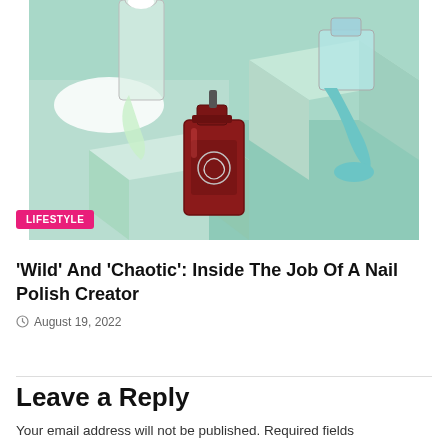[Figure (photo): Multiple nail polish bottles with colorful polish spilling out on a light teal geometric background. A deep red/burgundy bottle is in the foreground, with clear/white and teal bottles visible.]
LIFESTYLE
'Wild' And 'Chaotic': Inside The Job Of A Nail Polish Creator
August 19, 2022
Leave a Reply
Your email address will not be published. Required fields